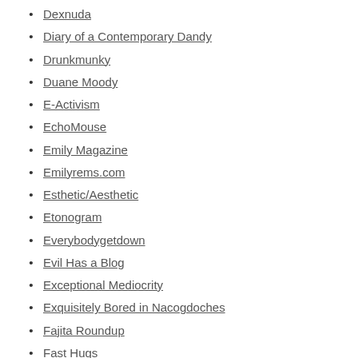Dexnuda
Diary of a Contemporary Dandy
Drunkmunky
Duane Moody
E-Activism
EchoMouse
Emily Magazine
Emilyrems.com
Esthetic/Aesthetic
Etonogram
Everybodygetdown
Evil Has a Blog
Exceptional Mediocrity
Exquisitely Bored in Nacogdoches
Fajita Roundup
Fast Hugs
Film Experience Blog